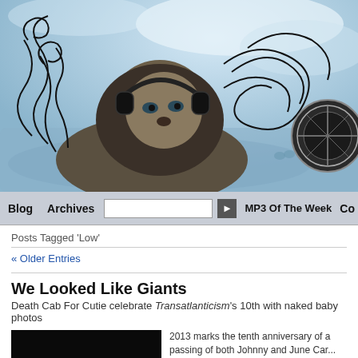[Figure (illustration): Decorative blog header illustration: a lion wearing headphones with ornate black ink swirls and flourishes on a blue watercolor wash background, with a decorative circular emblem on the right side]
Blog   Archives   [search]   MP3 Of The Week   Co...
Posts Tagged 'Low'
« Older Entries
We Looked Like Giants
Death Cab For Cutie celebrate Transatlanticism's 10th with naked baby photos
[Figure (photo): A dark concert/music photograph with a bright light spot, mostly black]
2013 marks the tenth anniversary of a passing of both Johnny and June Car... which hand to god I have never watch... bands in Death Cab For Cutie from t...